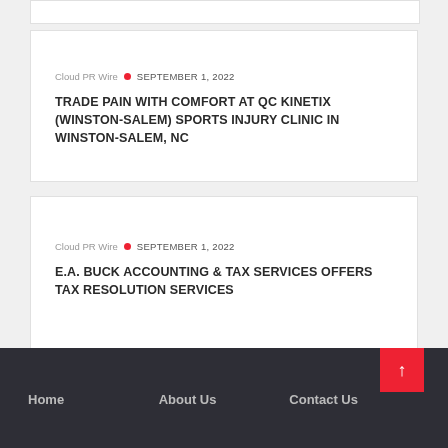Cloud PR Wire • SEPTEMBER 1, 2022
TRADE PAIN WITH COMFORT AT QC KINETIX (WINSTON-SALEM) SPORTS INJURY CLINIC IN WINSTON-SALEM, NC
Cloud PR Wire • SEPTEMBER 1, 2022
E.A. BUCK ACCOUNTING & TAX SERVICES OFFERS TAX RESOLUTION SERVICES
Home   About Us   Contact Us